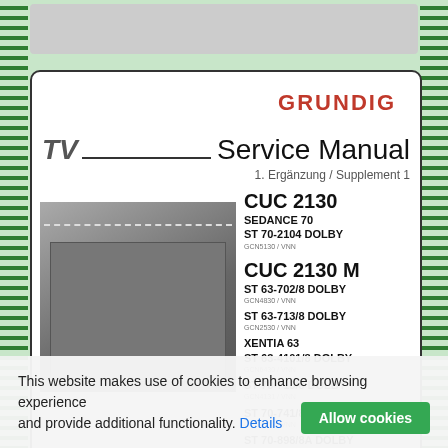[Figure (screenshot): Website screenshot showing a Grundig TV Service Manual cover page with cookie consent banner overlay]
GRUNDIG
TV Service Manual
1. Ergänzung / Supplement 1
CUC 2130
SEDANCE 70
ST 70-2104 DOLBY
GCN5130 / VNN
CUC 2130 M
ST 63-702/8 DOLBY
GCN4830 / VNN
ST 63-713/8 DOLBY
GCN2530 / VNN
XENTIA 63
ST 63-4101/8 DOLBY
GCN6430 / VNN
ST 70-713/8 DOLBY
GCN4131 / VNN
ST 70-741/8 DOLBY
GCN4131 / VNN
ST 70-898/8A DOLBY
GCN5830 / VNN
SEDANCE 70
CUC 2130 M
This website makes use of cookies to enhance browsing experience and provide additional functionality. Details
Allow cookies